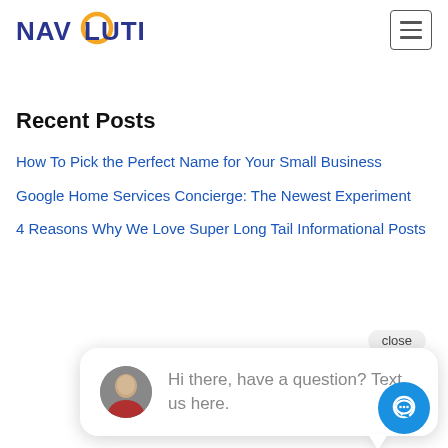[Figure (logo): Navsolutions logo with orange circle and blue/purple text]
[Figure (other): Hamburger menu button (three horizontal lines) in a bordered rectangle]
Recent Posts
How To Pick the Perfect Name for Your Small Business
Google Home Services Concierge: The Newest Experiment
4 Reasons Why We Love Super Long Tail Informational Posts
[Figure (screenshot): Chat widget with close button, avatar of a woman, and message 'Hi there, have a question? Text us here.' and a blue chat icon button]